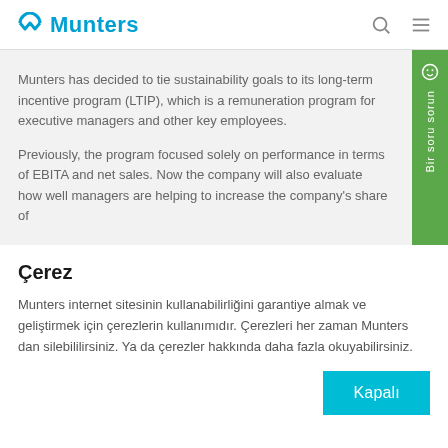Munters
Munters has decided to tie sustainability goals to its long-term incentive program (LTIP), which is a remuneration program for executive managers and other key employees.
Previously, the program focused solely on performance in terms of EBITA and net sales. Now the company will also evaluate how well managers are helping to increase the company's share of
Çerez
Munters internet sitesinin kullanabilirliğini garantiye almak ve geliştirmek için çerezlerin kullanımıdır. Çerezleri her zaman Munters dan silebililirsiniz. Ya da çerezler hakkında daha fazla okuyabilirsiniz.
Kapalı